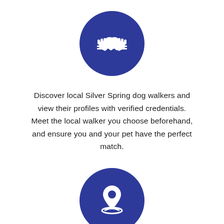[Figure (illustration): Blue circle with white handshake icon]
Discover local Silver Spring dog walkers and view their profiles with verified credentials. Meet the local walker you choose beforehand, and ensure you and your pet have the perfect match.
[Figure (illustration): Blue circle with white location pin and orbit/ring icon]